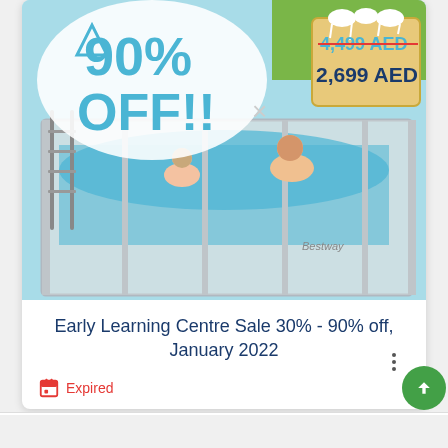[Figure (photo): Promotional image of a Bestway above-ground rectangular pool with two people swimming, showing '90% OFF!!' text in large teal letters, a triangle shape on left, and a price tag showing '4,499 AED' crossed out and '2,699 AED' in the top right corner. Light blue background with snow/ice styling on price tag.]
Early Learning Centre Sale 30% - 90% off, January 2022
Expired